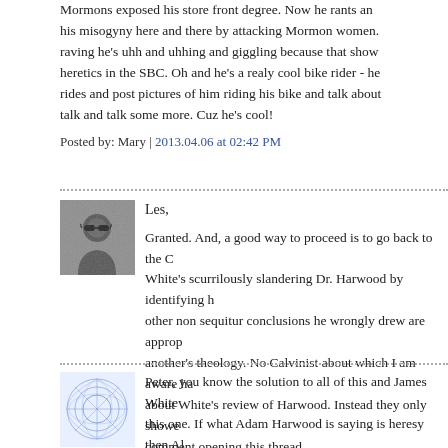Mormons exposed his store front degree. Now he rants and his misogyny here and there by attacking Mormon women. raving he's uhh and uhhing and giggling because that show heretics in the SBC. Oh and he's a realy cool bike rider - he rides and post pictures of him riding his bike and talk about talk and talk some more. Cuz he's cool!
Posted by: Mary | 2013.04.06 at 02:42 PM
[Figure (photo): Black and white photo of a person wearing sunglasses]
Les,

Granted. And, a good way to proceed is to go back to the C White's scurrilously slandering Dr. Harwood by identifying h other non sequitur conclusions he wrongly drew are approp another's theology. No Calvinist about which I am aware ha about White's review of Harwood. Instead they only showe comment opening this thread.
Posted by: peter lumpkins | 2013.04.06 at 02:48 PM
[Figure (illustration): Abstract blue geometric pattern illustration]
Peter, you know the solution to all of this and James White this one. If what Adam Harwood is saying is heresy then Al statesmen he is alledged to be and declare it heresy unam